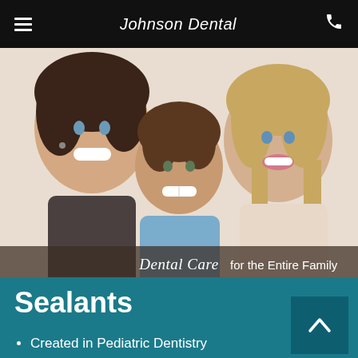Johnson Dental
[Figure (photo): Smiling family of three — a man, a young boy, and a woman — displayed as a dental care hero image with overlay text reading 'Dental Care for the Entire Family']
Sealants
Created in Pediatric Dentistry
[Figure (photo): Partial bottom image showing dental-related imagery on a reddish-brown background]